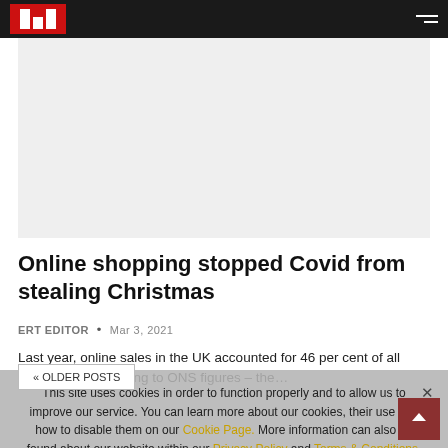ERT logo and navigation header
[Figure (other): Advertisement placeholder — light grey rectangle]
Online shopping stopped Covid from stealing Christmas
ERT EDITOR • Mar 3, 2021
Last year, online sales in the UK accounted for 46 per cent of all retail sales, according to ONS figures – the...
This site uses cookies in order to function properly and to allow us to improve our service. You can learn more about our cookies, their use and how to disable them on our Cookie Page. More information can also be found about our website within our Privacy Policy and Terms & Conditions.
Remove this message
« OLDER POSTS